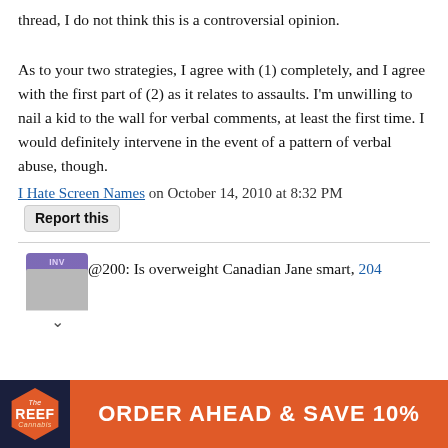thread, I do not think this is a controversial opinion.
As to your two strategies, I agree with (1) completely, and I agree with the first part of (2) as it relates to assaults. I'm unwilling to nail a kid to the wall for verbal comments, at least the first time. I would definitely intervene in the event of a pattern of verbal abuse, though.
I Hate Screen Names on October 14, 2010 at 8:32 PM  Report this
@200: Is overweight Canadian Jane smart, 204
[Figure (infographic): Advertisement banner for The Reef Cannabis: hexagonal logo on dark navy background with orange 'ORDER AHEAD & SAVE 10%' call to action button.]